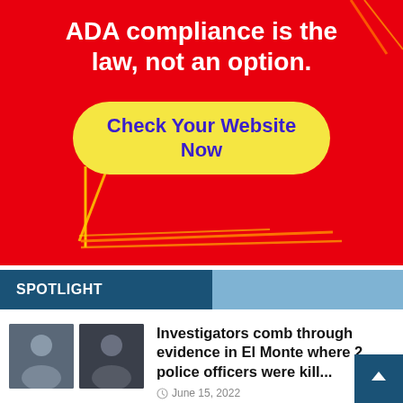[Figure (infographic): Red advertisement banner for ADA compliance with text 'ADA compliance is the law, not an option.' and a yellow button reading 'Check Your Website Now'. Decorative orange/red diagonal lines in corners.]
SPOTLIGHT
Investigators comb through evidence in El Monte where 2 police officers were kill...
June 15, 2022